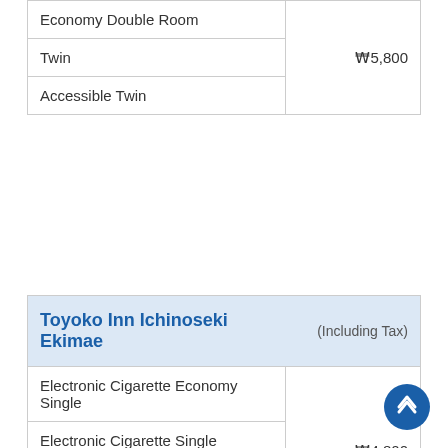| Room Type | Price |
| --- | --- |
| Economy Double Room |  |
| Twin | ₩5,800 |
| Accessible Twin |  |
| Toyoko Inn Ichinoseki Ekimae | (Including Tax) |
| --- | --- |
| Electronic Cigarette Economy Single |  |
| Electronic Cigarette Single | ₩4,800 |
| Economy Single Room |  |
| Single |  |
| Electronic Cigarette Economy Double |  |
| Electronic Cigarette Double |  |
| Economy Double Room |  |